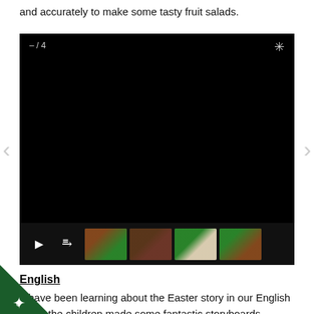and accurately to make some tasty fruit salads.
[Figure (screenshot): Embedded video player with black background, navigation arrows, play/expand controls at bottom, and 4 thumbnail images of children doing activities. Counter shows – / 4.]
English
e have been learning about the Easter story in our English s and the children made some fantastic storyboards